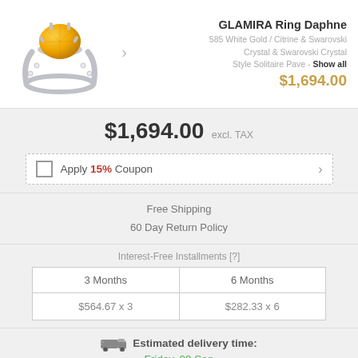[Figure (photo): Photo of GLAMIRA Ring Daphne - a solitaire pave ring with yellow/citrine center stone and white gold band with small diamonds]
GLAMIRA Ring Daphne
585 White Gold / Citrine & Swarovski Crystal & Swarovski Crystal
Style Solitaire Pave - Show all
$1,694.00
$1,694.00 excl. TAX
Apply 15% Coupon
Free Shipping
60 Day Return Policy
Interest-Free Installments [?]
| 3 Months | 6 Months |
| --- | --- |
| $564.67 x 3 | $282.33 x 6 |
Estimated delivery time:
Friday, 09 Sep
View Delivery Options
Select an Extended Protection Plan